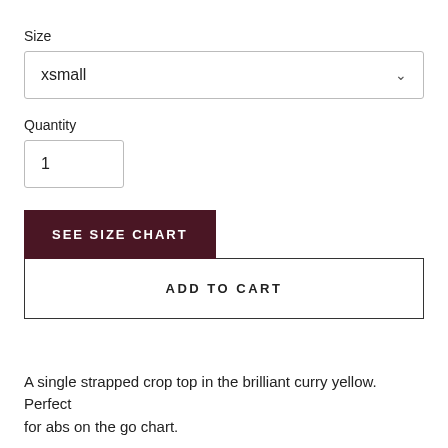Size
xsmall
Quantity
1
SEE SIZE CHART
ADD TO CART
A single strapped crop top in the brilliant curry yellow.  Perfect for abs on the go chart.